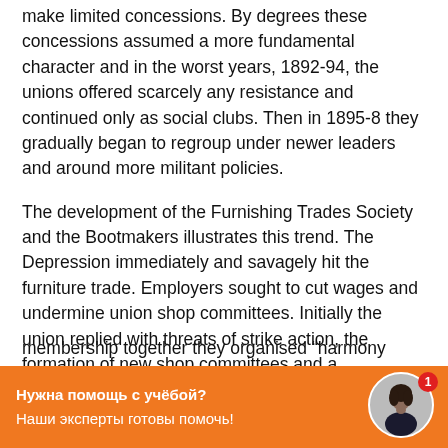make limited concessions. By degrees these concessions assumed a more fundamental character and in the worst years, 1892-94, the unions offered scarcely any resistance and continued only as social clubs. Then in 1895-8 they gradually began to regroup under newer leaders and around more militant policies.
The development of the Furnishing Trades Society and the Bootmakers illustrates this trend. The Depression immediately and savagely hit the furniture trade. Employers sought to cut wages and undermine union shop committees. Initially the union replied with threats of strike action, the formation of new shop committees and a recruitment drive. But as the crisis deepened workers started to break ranks in the face of threats
[Figure (other): Orange chat support widget with text 'Нужна помощь с учёбой? Наши эксперты готовы помочь!' and a circular avatar photo of a woman, with a red notification badge showing '1'.]
membership together they organised "harmony